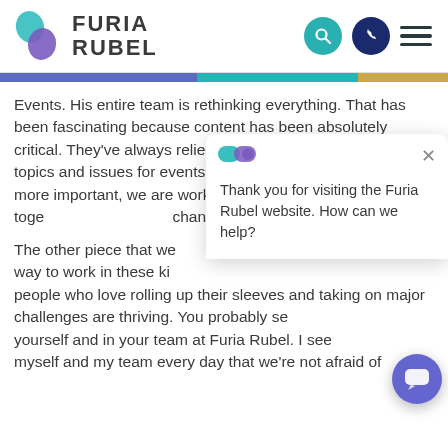[Figure (logo): Furia Rubel logo with teal and purple overlapping leaf/droplet shapes and bold text FURIA RUBEL]
Events. His entire team is rethinking everything. That has been fascinating because content has been absolutely critical. They've always relied upon us to help support the topics and issues for events. But now that content is even more important, we are working even more closely toge change.
The other piece that we way to work in these ki people who love rolling up their sleeves and taking on major challenges are thriving. You probably see yourself and in your team at Furia Rubel. I see myself and my team every day that we're not afraid of
Thank you for visiting the Furia Rubel website. How can we help?